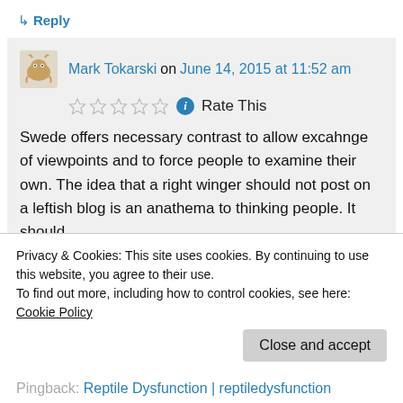↳ Reply
Mark Tokarski on June 14, 2015 at 11:52 am
Rate This
Swede offers necessary contrast to allow excahnge of viewpoints and to force people to examine their own. The idea that a right winger should not post on a leftish blog is an anathema to thinking people. It should
Privacy & Cookies: This site uses cookies. By continuing to use this website, you agree to their use.
To find out more, including how to control cookies, see here: Cookie Policy
Close and accept
Pingback: Reptile Dysfunction | reptiledysfunction